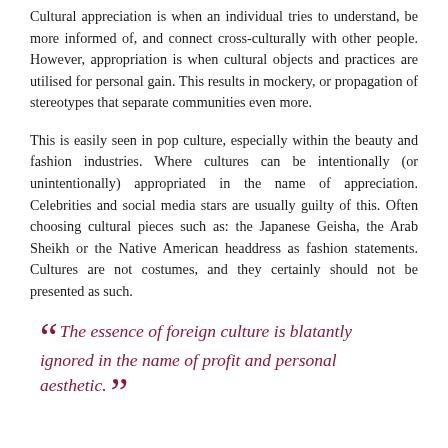Cultural appreciation is when an individual tries to understand, be more informed of, and connect cross-culturally with other people. However, appropriation is when cultural objects and practices are utilised for personal gain. This results in mockery, or propagation of stereotypes that separate communities even more.
This is easily seen in pop culture, especially within the beauty and fashion industries. Where cultures can be intentionally (or unintentionally) appropriated in the name of appreciation. Celebrities and social media stars are usually guilty of this. Often choosing cultural pieces such as: the Japanese Geisha, the Arab Sheikh or the Native American headdress as fashion statements. Cultures are not costumes, and they certainly should not be presented as such.
““ The essence of foreign culture is blatantly ignored in the name of profit and personal aesthetic. ””